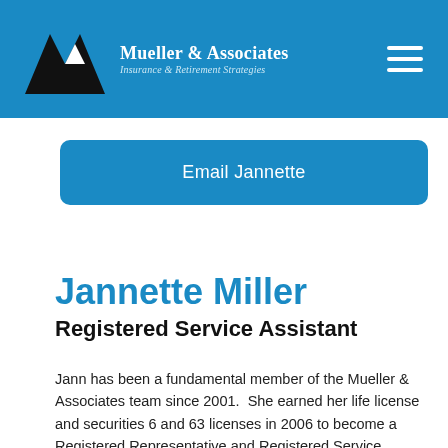Mueller & Associates — Insurance & Retirement Strategies
Email Jannette
Jannette Miller
Registered Service Assistant
Jann has been a fundamental member of the Mueller & Associates team since 2001.  She earned her life license and securities 6 and 63 licenses in 2006 to become a Registered Representative and Registered Service Assistant.
Jann has earned clients trust through her